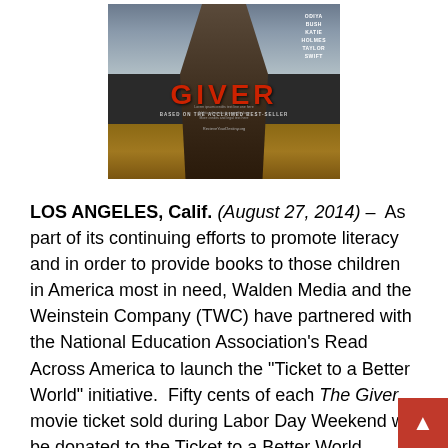[Figure (photo): Movie poster for 'The Giver' featuring a silhouetted figure against a dramatic sky and landscape. Cast listed: Odiya Bush, Katie Holmes, Taylor Swift. Text 'BASED ON THE ACCLAIMED BEST-SELLER' visible.]
LOS ANGELES, Calif. (August 27, 2014) – As part of its continuing efforts to promote literacy and in order to provide books to those children in America most in need, Walden Media and the Weinstein Company (TWC) have partnered with the National Education Association's Read Across America to launch the "Ticket to a Better World" initiative. Fifty cents of each The Giver movie ticket sold during Labor Day Weekend will be donated to the Ticket to a Better World initiative to raise up to a quarter of a million dollars to buy books for those children most in need.